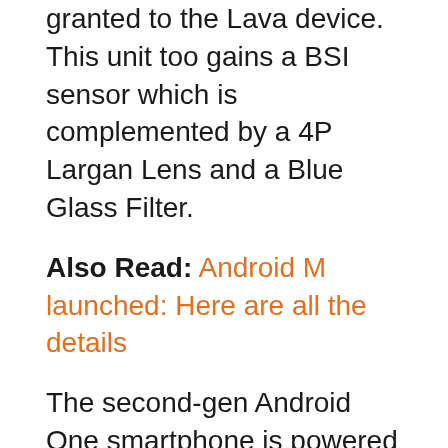granted to the Lava device. This unit too gains a BSI sensor which is complemented by a 4P Largan Lens and a Blue Glass Filter.
Also Read: Android M launched: Here are all the details
The second-gen Android One smartphone is powered by a MediaTek MT6582 chipset bearing a 1.3GHz quad core processor, a Mali 400 MP2 GPU and 2GB worth of RAM. The presence of the above mentioned chipset means there's no 4G LTE support onboard